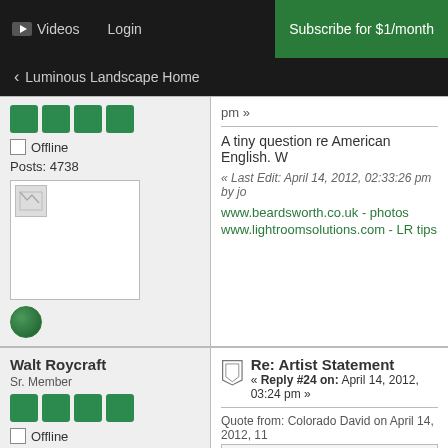Videos | Login | Subscribe for $1/month
< Luminous Landscape Home
pm »
A tiny question re American English. W
« Last Edit: April 14, 2012, 02:33:26 pm by jo
www.beardsworth.co.uk - photos
www.lightroomsolutions.com - LR tips
Posts: 4738
Walt Roycraft
Sr. Member
Posts: 442
Re: Artist Statement
« Reply #24 on: April 14, 2012, 03:24 pm »
Quote from: Colorado David on April 14, 2012, 11
I was thinking of posting the draft of my everyone here.  It is still a draft after all little afraid.  I did let a photographer col (someone who is neither my wife or anc crowd.  I am getting a lot out of the disc
Here's mine.
http://www.roycroftart.com/artist-state